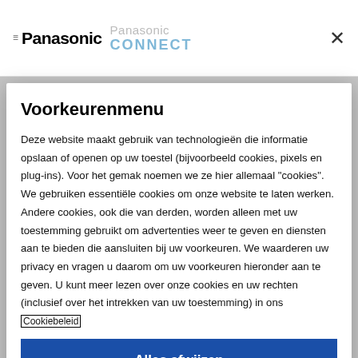Panasonic | Panasonic CONNECT
Voorkeurenmenu
Deze website maakt gebruik van technologieën die informatie opslaan of openen op uw toestel (bijvoorbeeld cookies, pixels en plug-ins). Voor het gemak noemen we ze hier allemaal "cookies". We gebruiken essentiële cookies om onze website te laten werken. Andere cookies, ook die van derden, worden alleen met uw toestemming gebruikt om advertenties weer te geven en diensten aan te bieden die aansluiten bij uw voorkeuren. We waarderen uw privacy en vragen u daarom om uw voorkeuren hieronder aan te geven. U kunt meer lezen over onze cookies en uw rechten (inclusief over het intrekken van uw toestemming) in ons [Cookiebeleid] of ons Privacybeleid.
Alles afwijzen
Mijn keuzes bevestigen
Powered by OneTrust